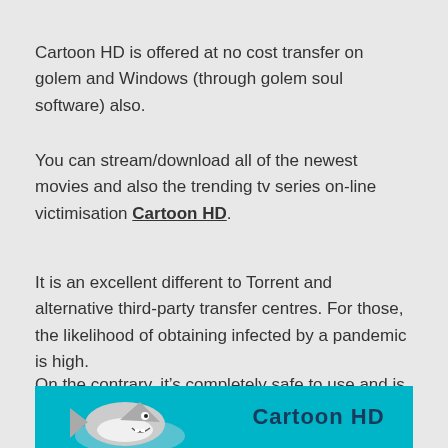Cartoon HD is offered at no cost transfer on golem and Windows (through golem soul software) also.
You can stream/download all of the newest movies and also the trending tv series on-line victimisation Cartoon HD.
It is an excellent different to Torrent and alternative third-party transfer centres. For those, the likelihood of obtaining infected by a pandemic is high.
On the contrary, it’s completely safe to use and is even counselled by plenty of school bloggers.
[Figure (illustration): Partial view of a Cartoon HD logo/banner with teal background, showing a cartoon shark-like figure on the left and bold text 'Cartoon HD' on the right in dark blue.]